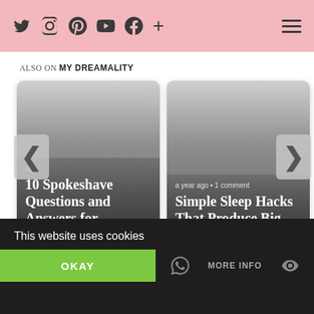Social icons: Twitter, Instagram, Pinterest, YouTube, Facebook, Plus | Hamburger menu
ALSO ON MY DREAMALITY
[Figure (screenshot): Article card 1: timestamp 'ago', title '10 Spokeshave Questions and Answers for ...' on gray gradient background]
[Figure (screenshot): Article card 2: 'a year ago • 1 comment', title 'Simple Sleep Hacks That Produce Big ...' on gray gradient background]
This website uses cookies
OKAY
MORE INFO